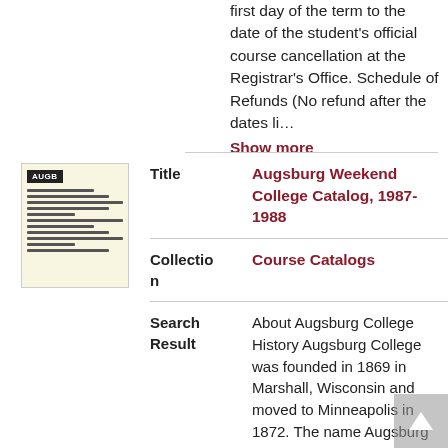first day of the term to the date of the student's official course cancellation at the Registrar's Office. Schedule of Refunds (No refund after the dates li…
Show more
[Figure (illustration): Thumbnail of a document page with a dark logo at top and lines of text below on a cream background]
| Field | Value |
| --- | --- |
| Title | Augsburg Weekend College Catalog, 1987-1988 |
| Collection | Course Catalogs |
| Search Result | About Augsburg College History Augsburg College was founded in 1869 in Marshall, Wisconsin and moved to Minneapolis in 1872. The name Augsburg College and Seminary changed in 1963 when the Lutheran Free Church merged with The American Lutheran Church. Location Augsburg's 23 acre |